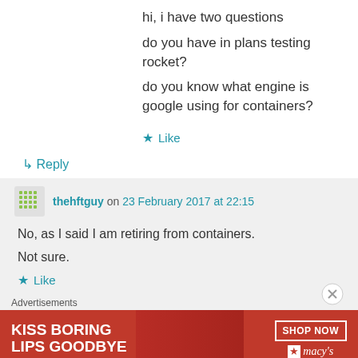hi, i have two questions
do you have in plans testing rocket?
do you know what engine is google using for containers?
★ Like
↳ Reply
thehftguy on 23 February 2017 at 22:15
No, as I said I am retiring from containers. Not sure.
★ Like
Advertisements
[Figure (photo): Advertisement banner for Macy's: KISS BORING LIPS GOODBYE with SHOP NOW button and Macy's star logo]